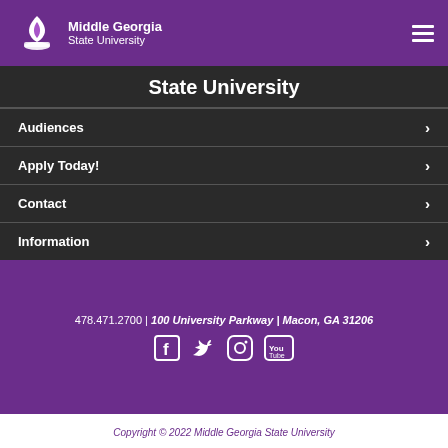Middle Georgia State University
State University
Audiences
Apply Today!
Contact
Information
478.471.2700 | 100 University Parkway | Macon, GA 31206
Copyright © 2022 Middle Georgia State University